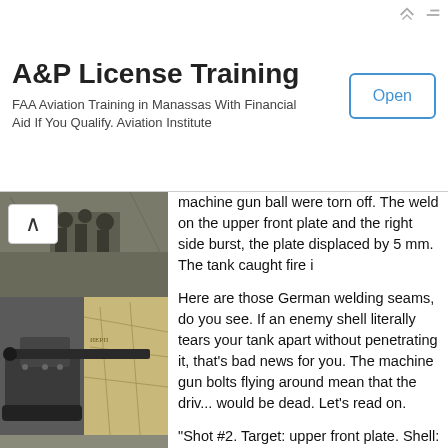[Figure (other): Advertisement banner for A&P License Training. Title: A&P License Training. Subtitle: FAA Aviation Training in Manassas With Financial Aid If You Qualify. Aviation Institute. Open button on the right.]
[Figure (photo): Collage of black-and-white historical military photographs including soldiers, a tank with a large gun barrel, and a map background. Also a third image of a tank from behind.]
machine gun ball were torn off. The weld on the upper front plate and the right side burst, the plate displaced by 5 mm. The tank caught fire i
Here are those German welding seams, do you see. If an enemy shell literally tears your tank apart without penetrating it, that's bad news for you. The machine gun bolts flying around mean that the driver likely would be dead. Let's read on.
"Shot #2. Target: upper front plate. Shell: Propellant: reduced. Distance: 2700 m. R 260 mm, 60 mm deep. The shell ricochete
Well, looks like shooting at nearly 3 kilom propellant charge won't do you any good. realistic scenario.
"Shot #3. Target: upper front plate. Shell: Distance: 500 m.